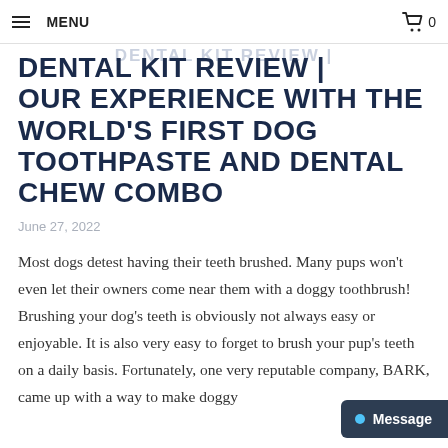BARK BRIGHT DOGS DENTAL KIT REVIEW
MENU  0
DENTAL KIT REVIEW | OUR EXPERIENCE WITH THE WORLD'S FIRST DOG TOOTHPASTE AND DENTAL CHEW COMBO
June 27, 2022
Most dogs detest having their teeth brushed. Many pups won't even let their owners come near them with a doggy toothbrush! Brushing your dog's teeth is obviously not always easy or enjoyable. It is also very easy to forget to brush your pup's teeth on a daily basis. Fortunately, one very reputable company, BARK, came up with a way to make doggy